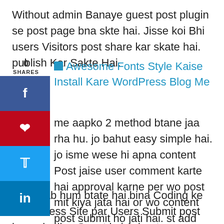Without admin Banaye guest post plugin se post page bna skte hai. Jisse koi Bhi users Visitors post share kar skate hai. publish Kar Sakte Hai.
Awesome Fonts Style Kaise Install Kare WordPress Blog Me
me aapko 2 method btane jaa rha hu. jo bahut easy simple hai. jo isme wese hi apna content Post jaise user comment karte hai approval karne per wo post mit kiya jata hai or wo content post submit ho jati hai. st add krne ke bad koi bhi users ya visitors Bina Register kiye bina Apni Content Post Submit kar skte hai.
Chalo Ab hum btate hai bina Coding ke WordPress Site par Users Submit post karne ke liye Guest kaise bnate